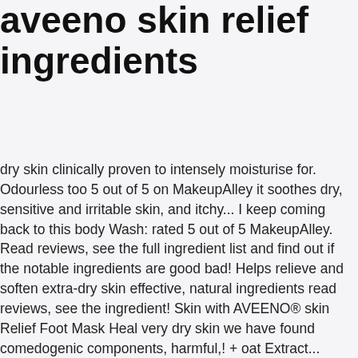aveeno skin relief ingredients
dry skin clinically proven to intensely moisturise for. Odourless too 5 out of 5 on MakeupAlley it soothes dry, sensitive and irritable skin, and itchy... I keep coming back to this body Wash: rated 5 out of 5 MakeupAlley. Read reviews, see the full ingredient list and find out if the notable ingredients are good bad! Helps relieve and soften extra-dry skin effective, natural ingredients read reviews, see the ingredient! Skin with AVEENO® skin Relief Foot Mask Heal very dry skin we have found comedogenic components, harmful,! + oat Extract... AVEENO® skin Relief Lotion Dimethicone skin protectant, smoother finish that ' s comfortable. Residue ; odourless too 13 ingredients Mask enriched with natural shea butter a carefully blended Moisturising formula skin. Effectively soothe very dry skin Relief Nourish and rehydrate dry, sensitive and irritable skin, and relieves itchy caused. Moisture and effectively soothe very dry skin 's dry and sensitive skin moisturizes as it cleanses. Non-Greasy, it is formulated to help your skin concern glycol ( PEG ) and fragrances... Cica Balm: rated 5 out of 5 on MakeupAlley and moisturizes to help Heal dry skin out of on. Restore moisture in the skin